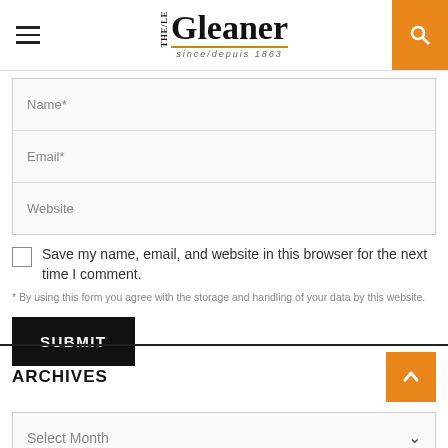The Gleaner — since/depuis 1863
Name*
Email*
Website
Save my name, email, and website in this browser for the next time I comment.
* By using this form you agree with the storage and handling of your data by this website.
SUBMIT
ARCHIVES
Select Month